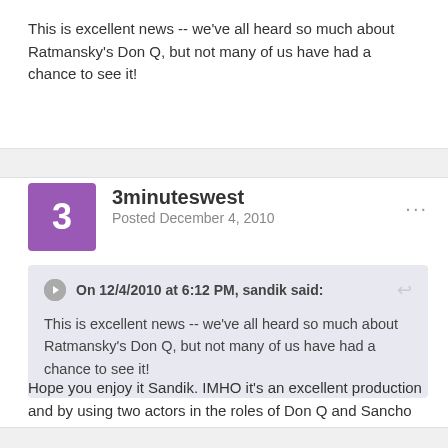This is excellent news -- we've all heard so much about Ratmansky's Don Q, but not many of us have had a chance to see it!
3minuteswest
Posted December 4, 2010
On 12/4/2010 at 6:12 PM, sandik said: This is excellent news -- we've all heard so much about Ratmansky's Don Q, but not many of us have had a chance to see it!
Hope you enjoy it Sandik. IMHO it's an excellent production and by using two actors in the roles of Don Q and Sancho Panza, Ratmansky and Dutch National Ballet brought a fresh approach.